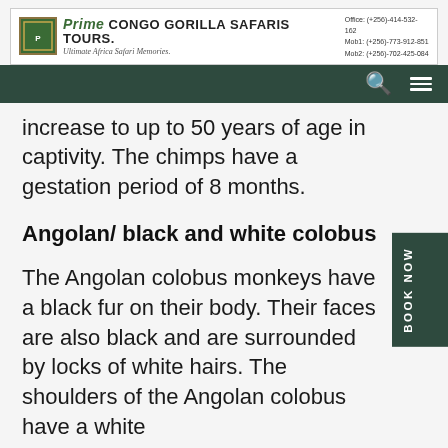Prime CONGO GORILLA SAFARIS TOURS. Ultimate Africa Safari Memories. Office: (+256)-414-532-162 Mob1: (+256)-773-912-851 Mob2: (+256)-702-425-084
increase to up to 50 years of age in captivity. The chimps have a gestation period of 8 months.
Angolan/ black and white colobus
The Angolan colobus monkeys have a black fur on their body. Their faces are also black and are surrounded by locks of white hairs. The shoulders of the Angolan colobus have a white